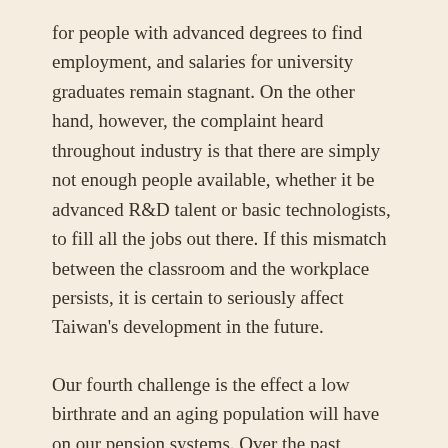for people with advanced degrees to find employment, and salaries for university graduates remain stagnant. On the other hand, however, the complaint heard throughout industry is that there are simply not enough people available, whether it be advanced R&D talent or basic technologists, to fill all the jobs out there. If this mismatch between the classroom and the workplace persists, it is certain to seriously affect Taiwan's development in the future.
Our fourth challenge is the effect a low birthrate and an aging population will have on our pension systems. Over the past decade and more, Taiwan's birthrate has been declining at an accelerating pace, dropping from 300,000 births per year to about 200,000. Today, an average of about three working people support one retiree or child; in 15 years, this will drop to two, creating a large burden on society. As a result, our pension systems face potentially massive funding shortfalls, and the national health insurance system may fall